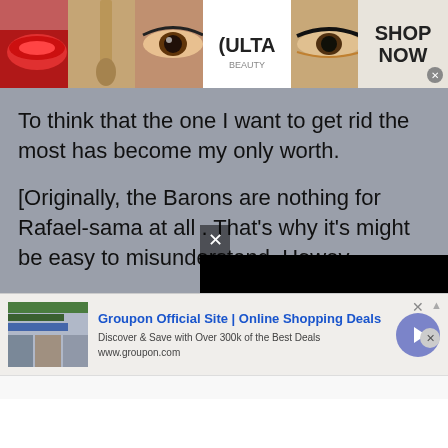[Figure (photo): Top banner ad for Ulta Beauty showing makeup images (lips, brush, eye), Ulta Beauty logo, eye close-up, and 'SHOP NOW' button with close X]
To think that the one I want to get rid the most has become my only worth.
[Originally, the Barons are nothing for Rafael-sama at all . That’s why it’s might be easy to misunderstand. Howev[er it’s shameless to...] (text cut off by overlay)
[Figure (screenshot): Groupon Official Site | Online Shopping Deals ad overlay with thumbnail image, title, description 'Discover & Save with Over 300k of the Best Deals', URL www.groupon.com, blue arrow button, and close X buttons]